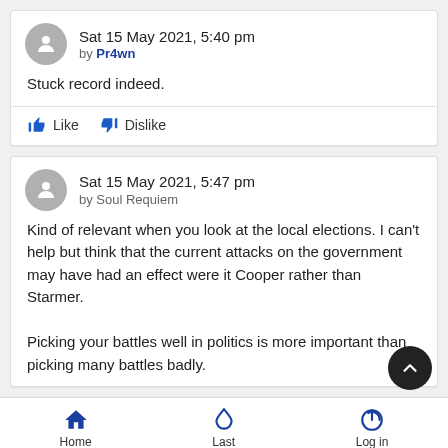Sat 15 May 2021, 5:40 pm by Pr4wn
Stuck record indeed.
Like   Dislike
Sat 15 May 2021, 5:47 pm by Soul Requiem
Kind of relevant when you look at the local elections. I can't help but think that the current attacks on the government may have had an effect were it Cooper rather than Starmer.

Picking your battles well in politics is more important than picking many battles badly.
Home   Last   Log in